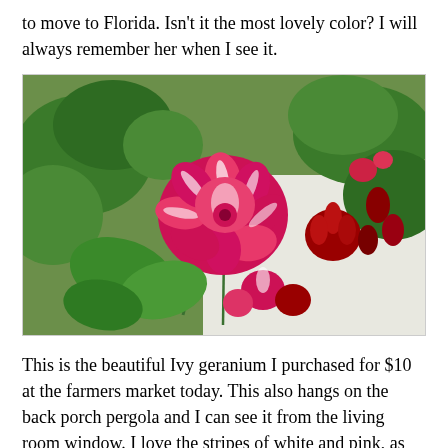to move to Florida. Isn't it the most lovely color? I will always remember her when I see it.
[Figure (photo): Close-up photograph of a beautiful Ivy geranium with bright pink and red flowers with white stripes, surrounded by green foliage and some darker red buds, with a white structure visible in the background.]
This is the beautiful Ivy geranium I purchased for $10 at the farmers market today. This also hangs on the back porch pergola and I can see it from the living room window. I love the stripes of white and pink, as you can see, they mixed it in with a bright pinky red solid geranium. It is a really pretty